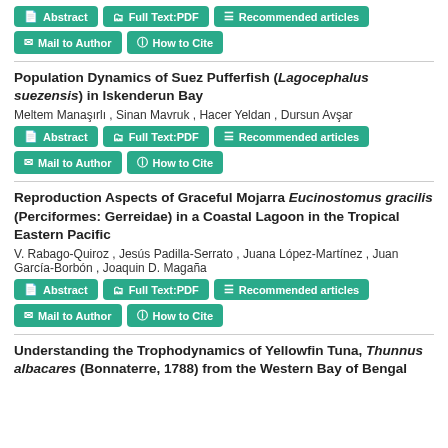Abstract | Full Text:PDF | Recommended articles | Mail to Author | How to Cite
Population Dynamics of Suez Pufferfish (Lagocephalus suezensis) in Iskenderun Bay
Meltem Manaşırlı , Sinan Mavruk , Hacer Yeldan , Dursun Avşar
Abstract | Full Text:PDF | Recommended articles | Mail to Author | How to Cite
Reproduction Aspects of Graceful Mojarra Eucinostomus gracilis (Perciformes: Gerreidae) in a Coastal Lagoon in the Tropical Eastern Pacific
V. Rabago-Quiroz , Jesús Padilla-Serrato , Juana López-Martínez , Juan García-Borbón , Joaquin D. Magaña
Abstract | Full Text:PDF | Recommended articles | Mail to Author | How to Cite
Understanding the Trophodynamics of Yellowfin Tuna, Thunnus albacares (Bonnaterre, 1788) from the Western Bay of Bengal